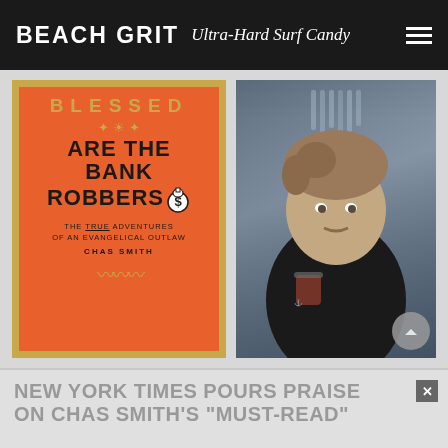BEACH GRIT Ultra-Hard Surf Candy
[Figure (photo): Book cover: 'Blessed Are The Bank Robbers - The True Adventures of an Evangelical Outlaw' by Chas Smith, orange cover with gold border]
[Figure (photo): Photo of Chas Smith, a man with tousled hair holding a cocktail glass, sitting at a bar, wearing a black shirt, with tattoos visible]
NEW YORK TIMES POURS PRAISE ON CHAS SMITH'S "MUST-READ"